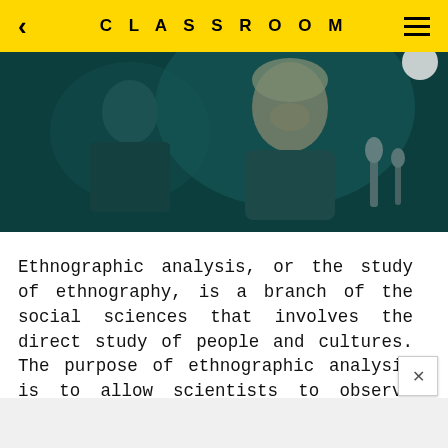CLASSROOM
[Figure (photo): Dark teal-tinted photo of two people at what appears to be a press conference or speaking event, with microphones visible. A woman with blonde hair is prominently visible smiling, and another person is in the background.]
Ethnographic analysis, or the study of ethnography, is a branch of the social sciences that involves the direct study of people and cultures. The purpose of ethnographic analysis is to allow scientists to observe their subjects on the ground level, interacting with them as another person would instead of creating a